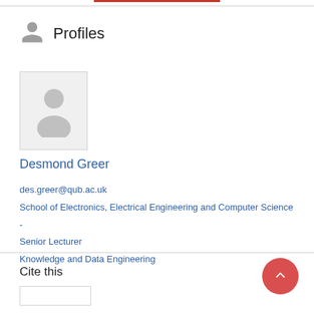Profiles
[Figure (photo): Grey silhouette placeholder avatar photo for Desmond Greer]
Desmond Greer
des.greer@qub.ac.uk
School of Electronics, Electrical Engineering and Computer Science - Senior Lecturer
Knowledge and Data Engineering
Cite this